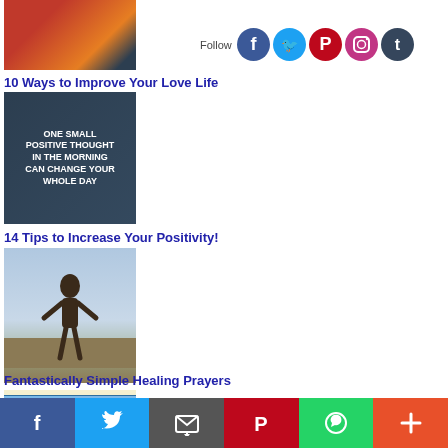[Figure (photo): Thumbnail image for love life article - warm tones with people]
10 Ways to Improve Your Love Life
[Figure (photo): Social follow icons - Facebook, Twitter, Pinterest, Instagram, Tumblr]
[Figure (photo): Motivational sign: ONE SMALL POSITIVE THOUGHT IN THE MORNING CAN CHANGE YOUR WHOLE DAY]
14 Tips to Increase Your Positivity!
[Figure (photo): Silhouette of person in field - healing prayers]
Fantastically Simple Healing Prayers
[Figure (photo): Person with arms raised - prosperity]
10 Ways to Become as Prosperous as You'd Like to Be
[Figure (photo): Water/wave abstract image]
[Figure (infographic): Bottom share bar with Facebook, Twitter, Email, Pinterest, WhatsApp, Plus buttons]